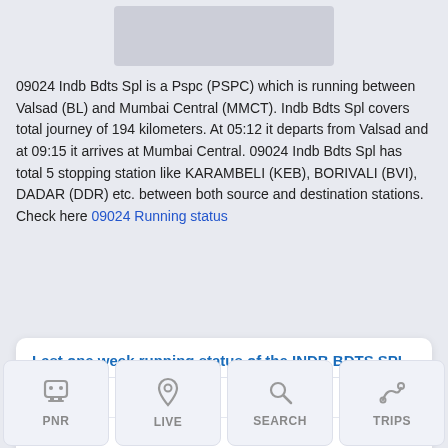[Figure (illustration): Blurred/placeholder image at top of page]
09024 Indb Bdts Spl is a Pspc (PSPC) which is running between Valsad (BL) and Mumbai Central (MMCT). Indb Bdts Spl covers total journey of 194 kilometers. At 05:12 it departs from Valsad and at 09:15 it arrives at Mumbai Central. 09024 Indb Bdts Spl has total 5 stopping station like KARAMBELI (KEB), BORIVALI (BVI), DADAR (DDR) etc. between both source and destination stations. Check here 09024 Running status
Last one week running status of the INDB BDTS SPL
| Date | Status |
| --- | --- |
| 9th April | RT |
| 8th April | RT |
| 7th April |  |
| 6th April | 18 Min |
PNR  LIVE  SEARCH  TRIPS